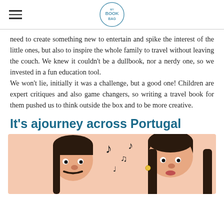MY BOOK BAG (logo)
need to create something new to entertain and spike the interest of the little ones, but also to inspire the whole family to travel without leaving the couch. We knew it couldn't be a dullbook, nor a nerdy one, so we invested in a fun education tool.
We won't lie, initially it was a challenge, but a good one! Children are expert critiques and also game changers, so writing a travel book for them pushed us to think outside the box and to be more creative.
It's ajourney across Portugal
[Figure (illustration): Illustration of two cartoon characters (a man with a mustache and a woman) on a peach/salmon background with musical notes floating between them.]